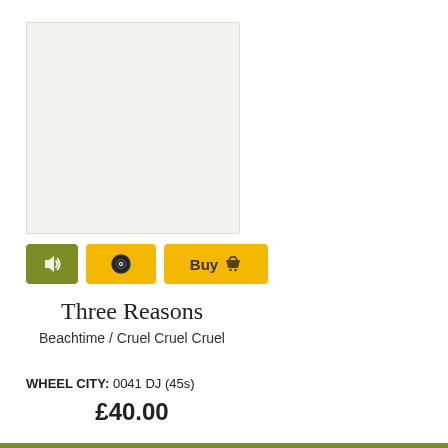[Figure (photo): Album cover placeholder — light beige/off-white square image area]
[Figure (other): Three buttons row: olive green speaker/audio button, yellow vinyl record button, yellow Buy with basket icon button]
Three Reasons
Beachtime / Cruel Cruel Cruel
WHEEL CITY: 0041 DJ (45s)
£40.00